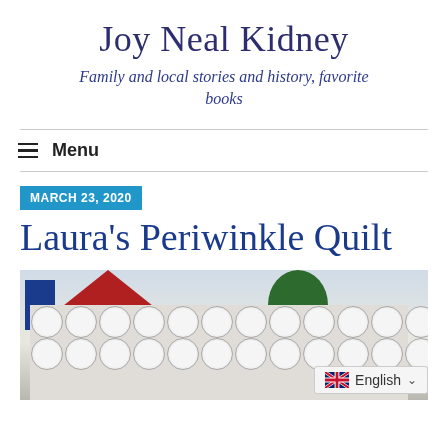Joy Neal Kidney
Family and local stories and history, favorite books
Menu
MARCH 23, 2020
Laura's Periwinkle Quilt
[Figure (photo): A periwinkle quilt hung outdoors near a red barn with trees in the background. The quilt features a circular/cathedral window pattern in light colors with a red border.]